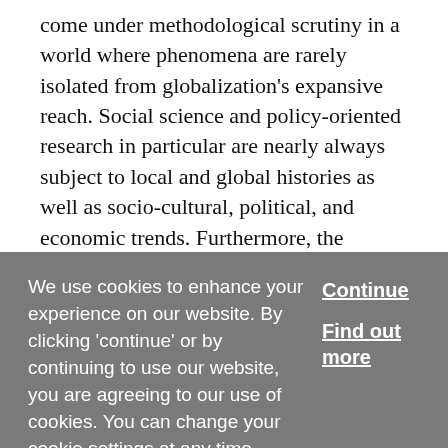come under methodological scrutiny in a world where phenomena are rarely isolated from globalization's expansive reach. Social science and policy-oriented research in particular are nearly always subject to local and global histories as well as socio-cultural, political, and economic trends. Furthermore, the experience of individuals, organizations, and institutions are often tangled in interconnected webs of influence, such that a case study that does not trace these underlying relationships is likely to be analyzing only the tip of a phenomenological iceberg. Hence critical scholars call for the need to repurpose traditional case study research methods to embrace shifting contextual factors that surround a research project at
We use cookies to enhance your experience on our website. By clicking 'continue' or by continuing to use our website, you are agreeing to our use of cookies. You can change your cookie settings at any time.
Continue
Find out more